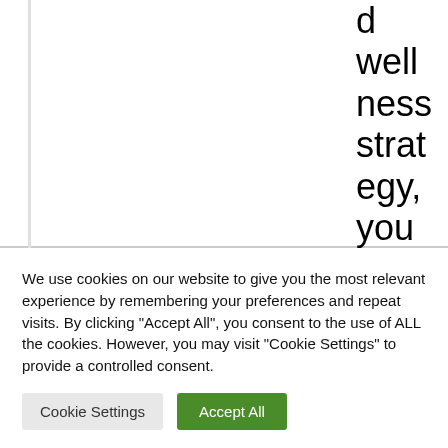d wellness strategy, you can purchase pers
We use cookies on our website to give you the most relevant experience by remembering your preferences and repeat visits. By clicking "Accept All", you consent to the use of ALL the cookies. However, you may visit "Cookie Settings" to provide a controlled consent.
Cookie Settings
Accept All